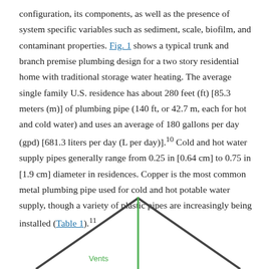configuration, its components, as well as the presence of system specific variables such as sediment, scale, biofilm, and contaminant properties. Fig. 1 shows a typical trunk and branch premise plumbing design for a two story residential home with traditional storage water heating. The average single family U.S. residence has about 280 feet (ft) [85.3 meters (m)] of plumbing pipe (140 ft, or 42.7 m, each for hot and cold water) and uses an average of 180 gallons per day (gpd) [681.3 liters per day (L per day)].^10 Cold and hot water supply pipes generally range from 0.25 in [0.64 cm] to 0.75 in [1.9 cm] diameter in residences. Copper is the most common metal plumbing pipe used for cold and hot potable water supply, though a variety of plastic pipes are increasingly being installed (Table 1).^11
[Figure (illustration): Partial view of a plumbing diagram showing a house roof outline with a vertical green line (representing a vent or pipe) and the label 'Vents' in green text at the bottom left area of the diagram.]